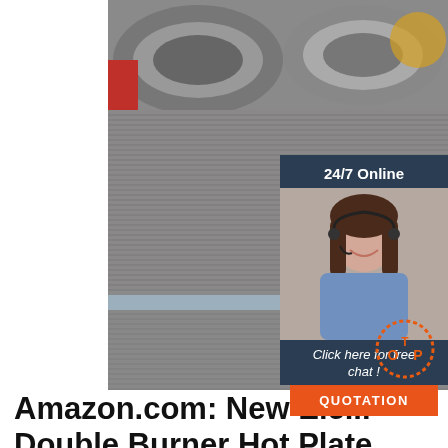[Figure (photo): Large photo of coiled steel wire/rod spools stacked in an industrial warehouse setting]
[Figure (infographic): 24/7 Online chat widget overlay showing a customer service representative with headset, 'Click here for free chat!' text, and an orange QUOTATION button]
Amazon.com: New Ele... Double Burner Hot Plate
SUNAVO Hot Plates for Cooking, 1800W Electric Double Burner with Handles, 6 Power Levels Stainless Steel Hot Plate for Kitchen Camping RV Cast Iron 4.2 out of 5 stars 81 4 offers from $23.14